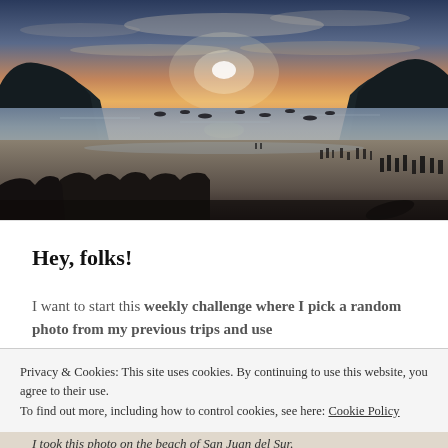[Figure (photo): Beach sunset photo showing San Juan del Sur beach with people walking on the sand, boats in the water, and hills in the background under a dramatic sunset sky.]
Hey, folks!
I want to start this weekly challenge where I pick a random photo from my previous trips and use
Privacy & Cookies: This site uses cookies. By continuing to use this website, you agree to their use.
To find out more, including how to control cookies, see here: Cookie Policy
I took this photo on the beach of San Juan del Sur.